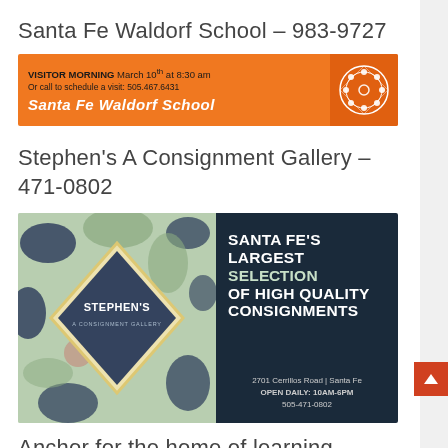Santa Fe Waldorf School – 983-9727
[Figure (infographic): Orange banner ad for Santa Fe Waldorf School. Text: VISITOR MORNING March 10th at 8:30 am. Or call to schedule a visit: 505.467.6431. Santa Fe Waldorf School. White circular mandala logo on right.]
Stephen's A Consignment Gallery – 471-0802
[Figure (infographic): Ad for Stephen's A Consignment Gallery. Left half: decorative floral/swirl pattern background with a diamond logo reading STEPHEN'S A CONSIGNMENT GALLERY. Right half: dark navy background with text: SANTA FE'S LARGEST SELECTION OF HIGH QUALITY CONSIGNMENTS. 2701 Cerrillos Road | Santa Fe. OPEN DAILY: 10AM-6PM. 505-471-0802.]
Anchor for the home of learning...